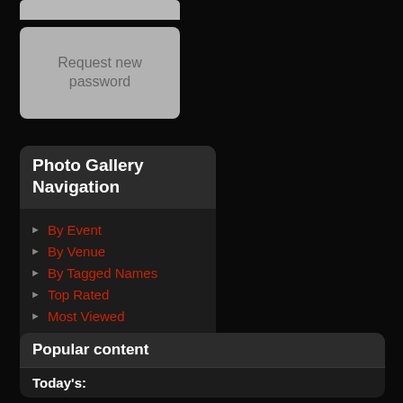[Figure (screenshot): Gray button/input area at top]
Request new password
Photo Gallery Navigation
By Event
By Venue
By Tagged Names
Top Rated
Most Viewed
Random
Popular content
Today's: